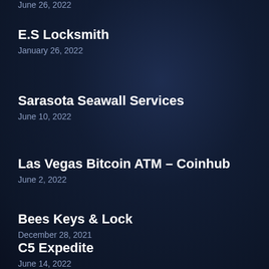June 26, 2022
E.S Locksmith
January 26, 2022
Sarasota Seawall Services
June 10, 2022
Las Vegas Bitcoin ATM – Coinhub
June 2, 2022
Bees Keys & Lock
December 28, 2021
C5 Expedite
June 14, 2022